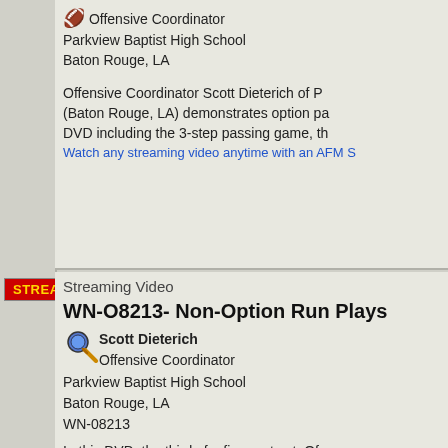Offensive Coordinator
Parkview Baptist High School
Baton Rouge, LA
Offensive Coordinator Scott Dieterich of P (Baton Rouge, LA) demonstrates option pa DVD including the 3-step passing game, th
Watch any streaming video anytime with an AFM S
[Figure (logo): STREAMING badge in red background with gold text]
Streaming Video
WN-O8213- Non-Option Run Plays
[Figure (illustration): Magnifying glass icon with blue circle]
Scott Dieterich
Offensive Coordinator
Parkview Baptist High School
Baton Rouge, LA
WN-08213
In this DVD, the third of a five-part set, Of